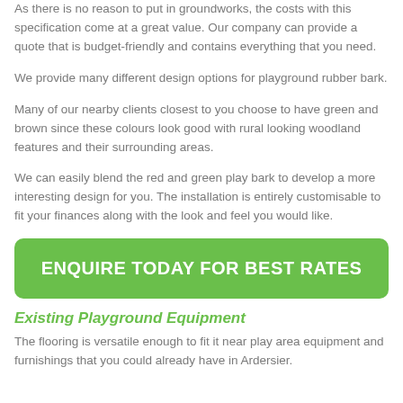As there is no reason to put in groundworks, the costs with this specification come at a great value. Our company can provide a quote that is budget-friendly and contains everything that you need.
We provide many different design options for playground rubber bark.
Many of our nearby clients closest to you choose to have green and brown since these colours look good with rural looking woodland features and their surrounding areas.
We can easily blend the red and green play bark to develop a more interesting design for you. The installation is entirely customisable to fit your finances along with the look and feel you would like.
[Figure (other): Green call-to-action button with white bold text reading ENQUIRE TODAY FOR BEST RATES]
Existing Playground Equipment
The flooring is versatile enough to fit it near play area equipment and furnishings that you could already have in Ardersier.